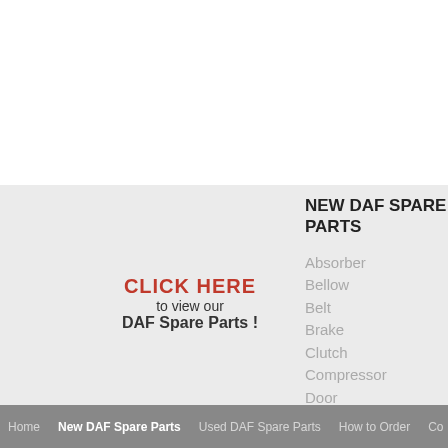NEW DAF SPARE PARTS
CLICK HERE
to view our
DAF Spare Parts !
Absorber
Bellow
Belt
Brake
Clutch
Compressor
Door
Home   New DAF Spare Parts   Used DAF Spare Parts   How to Order   Con